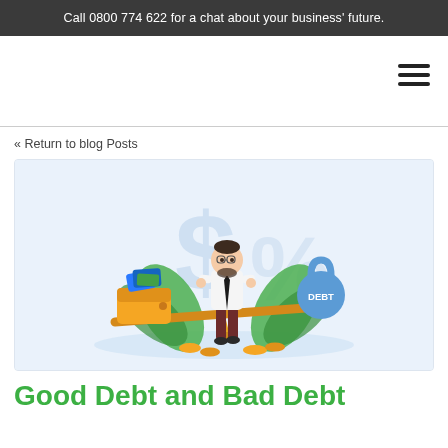Call 0800 774 622 for a chat about your business' future.
[Figure (illustration): Illustration of a businessman in white shirt and dark trousers standing on a balance/seesaw scale. On the left side of the scale is a wallet with money and cards. On the right side is a blue kettlebell weight labeled DEBT. Background has a dollar sign and percentage sign in light blue, and green leaves. Below the scale are gold coins.]
« Return to blog Posts
Good Debt and Bad Debt